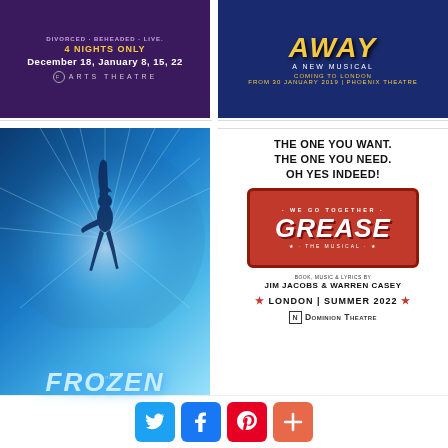[Figure (illustration): Six Wives musical poster - purple background, text: DIVORCED BEHEADED LIVE, 4 NIGHTS ONLY, DECEMBER 18, JANUARY 8, 15, 22, Arts Theatre logo]
[Figure (illustration): Come From Away musical poster - dark blue background with golden AWAY title, A NEW MUSICAL, COMING TO LONDON FROM 30 JANUARY 2019, PHOENIX THEATRE]
[Figure (illustration): Disney Frozen The West End Musical poster - blue ice background with silhouette dancer, FROZEN logo]
[Figure (illustration): Grease The Musical poster - white background with text THE ONE YOU WANT. THE ONE YOU NEED. OH YES INDEED!, red license plate GREASE logo, WE GO TOGETHER, BOOK MUSIC & LYRICS BY JIM JACOBS & WARREN CASEY, LONDON | SUMMER 2022, Dominion Theatre logo]
[Figure (illustration): Social share buttons: Twitter (blue bird), Facebook (blue f), Pinterest (red P), More (orange plus)]